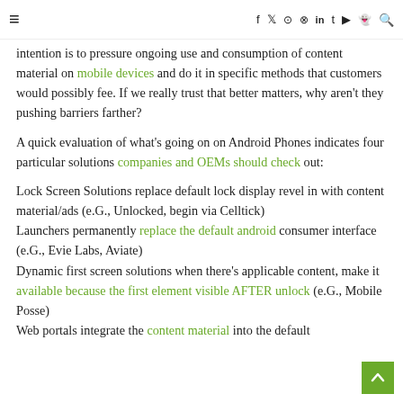≡  f  t (twitter)  (instagram)  (pinterest)  in  t  (youtube)  (snapchat)  🔍
intention is to pressure ongoing use and consumption of content material on mobile devices and do it in specific methods that customers would possibly fee. If we really trust that better matters, why aren't they pushing barriers farther?
A quick evaluation of what's going on on Android Phones indicates four particular solutions companies and OEMs should check out:
Lock Screen Solutions replace default lock display revel in with content material/ads (e.G., Unlocked, begin via Celltick)
Launchers permanently replace the default android consumer interface (e.G., Evie Labs, Aviate)
Dynamic first screen solutions when there's applicable content, make it available because the first element visible AFTER unlock (e.G., Mobile Posse)
Web portals integrate the content material into the default